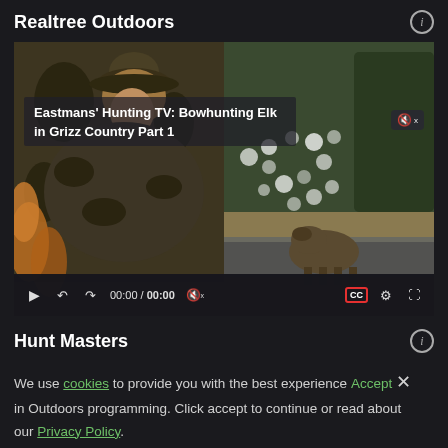Realtree Outdoors
[Figure (screenshot): Video player showing hunting scene: man in camouflage on left, grizzly bear in wilderness on right. Overlay title: Eastmans' Hunting TV: Bowhunting Elk in Grizz Country Part 1. Video controls bar at bottom: play, rewind, forward, 00:00 / 00:00, mute, CC, settings, fullscreen.]
Hunt Masters
We use cookies to provide you with the best experience  Accept  ×
in Outdoors programming. Click accept to continue or read about
our Privacy Policy.